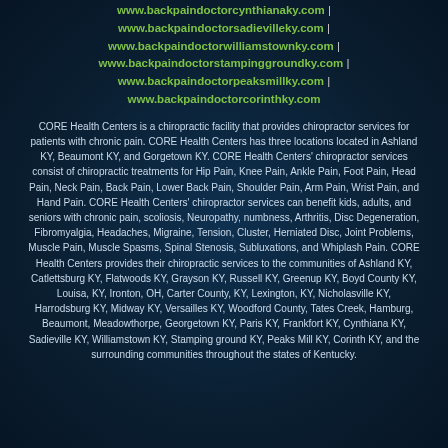www.backpaindoctorcynthianaky.com |
www.backpaindoctorsadievilleky.com |
www.backpaindoctorwilliamstownky.com |
www.backpaindoctorstampinggroundky.com |
www.backpaindoctorpeaksmillky.com |
www.backpaindoctorcorinthky.com
CORE Health Centers is a chiropractic facility that provides chiropractor services for patients with chronic pain. CORE Health Centers has three locations located in Ashland KY, Beaumont KY, and Gorgetown KY. CORE Health Centers' chiropractor services consist of chiropractic treatments for Hip Pain, Knee Pain, Ankle Pain, Foot Pain, Head Pain, Neck Pain, Back Pain, Lower Back Pain, Shoulder Pain, Arm Pain, Wrist Pain, and Hand Pain. CORE Health Centers' chiropractor services can benefit kids, adults, and seniors with chronic pain, scoliosis, Neuropathy, numbness, Arthritis, Disc Degeneration, Fibromyalgia, Headaches, Migraine, Tension, Cluster, Herniated Disc, Joint Problems, Muscle Pain, Muscle Spasms, Spinal Stenosis, Subluxations, and Whiplash Pain. CORE Health Centers provides their chiropractic services to the communities of Ashland KY, Catlettsburg KY, Flatwoods KY, Grayson KY, Russell KY, Greenup KY, Boyd County KY, Louisa, KY, Ironton, OH, Carter County, KY, Lexington, KY, Nicholasville KY, Harrodsburg KY, Midway KY, Versailles KY, Woodford County, Tates Creek, Hamburg, Beaumont, Meadowthorpe, Georgetown KY, Paris KY, Frankfort KY, Cynthiana KY, Sadieville KY, Williamstown KY, Stamping ground KY, Peaks Mill KY, Corinth KY, and the surrounding communities throughout the states of Kentucky.